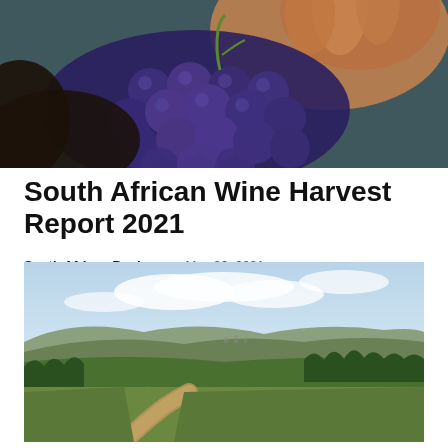[Figure (photo): Close-up of hands holding a cluster of dark blue/purple grapes]
South African Wine Harvest Report 2021
South African Business – May 26, 2021
[Figure (photo): Aerial view of a vineyard with rolling hills and blue sky in the background, showing rows of vines and farm roads]